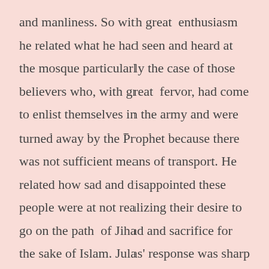and manliness. So with great enthusiasm he related what he had seen and heard at the mosque particularly the case of those believers who, with great fervor, had come to enlist themselves in the army and were turned away by the Prophet because there was not sufficient means of transport. He related how sad and disappointed these people were at not realizing their desire to go on the path of Jihad and sacrifice for the sake of Islam. Julas' response was sharp and shocking.
"If Muhammad is true in claiming that he is a Prophet ," he shouted angrily, "then we are all worse than donkeys."